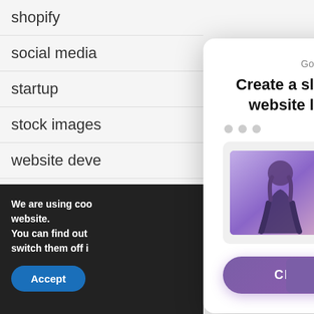shopify
social media
startup
stock images
website deve
wordpress
We are using coo website.
You can find out switch them off i
Accept
[Figure (screenshot): Slide-in popup modal with title 'Create a slide-in popup for your website like this one for free', a screenshot of a running guide popup, and a purple 'CREATE YOUR POPUP' button.]